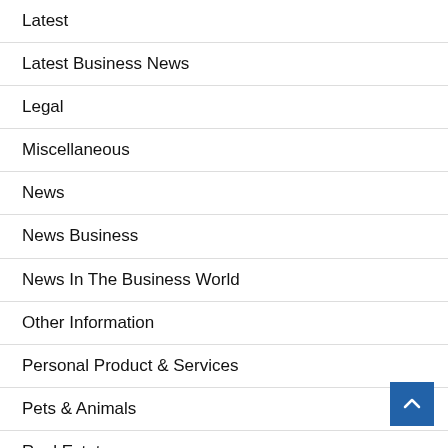Latest
Latest Business News
Legal
Miscellaneous
News
News Business
News In The Business World
Other Information
Personal Product & Services
Pets & Animals
Real Estate
Relationships
Software
Sports & Athletics